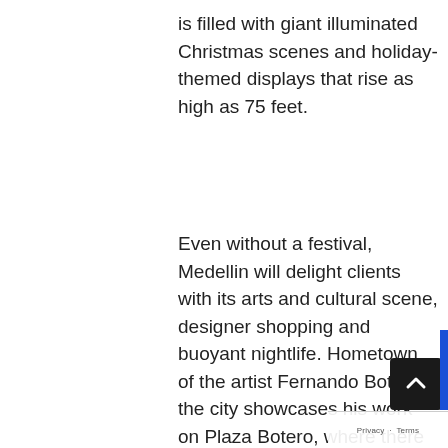is filled with giant illuminated Christmas scenes and holiday-themed displays that rise as high as 75 feet.
Even without a festival, Medellin will delight clients with its arts and cultural scene, designer shopping and buoyant nightlife. Hometown of the artist Fernando Botero, the city showcases his work on Plaza Botero, where there are 23 of his larger-than-life bronze sculptures. The museum facing the square exhibits several galleries of his paintings. Parks line Medellin's river, and the Botanical Garden is a shady place to stroll – suggest lunch in its airy café.